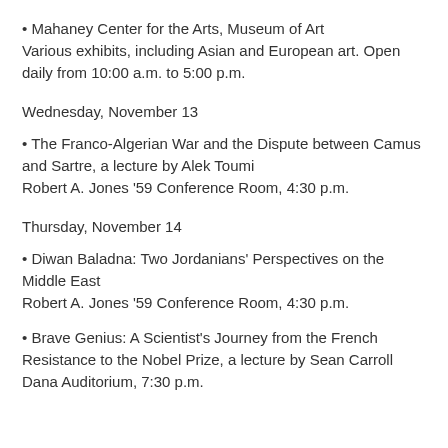• Mahaney Center for the Arts, Museum of Art
Various exhibits, including Asian and European art. Open daily from 10:00 a.m. to 5:00 p.m.
Wednesday, November 13
• The Franco-Algerian War and the Dispute between Camus and Sartre, a lecture by Alek Toumi
Robert A. Jones '59 Conference Room, 4:30 p.m.
Thursday, November 14
• Diwan Baladna: Two Jordanians' Perspectives on the Middle East
Robert A. Jones '59 Conference Room, 4:30 p.m.
• Brave Genius: A Scientist's Journey from the French Resistance to the Nobel Prize, a lecture by Sean Carroll
Dana Auditorium, 7:30 p.m.